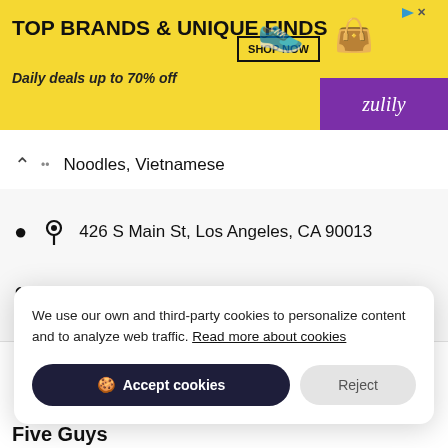[Figure (screenshot): Advertisement banner for Zulily: yellow background with text 'TOP BRANDS & UNIQUE FINDS' and 'Daily deals up to 70% off', SHOP NOW button, sneaker and handbag images, purple Zulily logo area]
Noodles, Vietnamese
426 S Main St, Los Angeles, CA 90013
(213) 623-1973
Popular Menus
We use our own and third-party cookies to personalize content and to analyze web traffic. Read more about cookies
Accept cookies
Reject
Five Guys